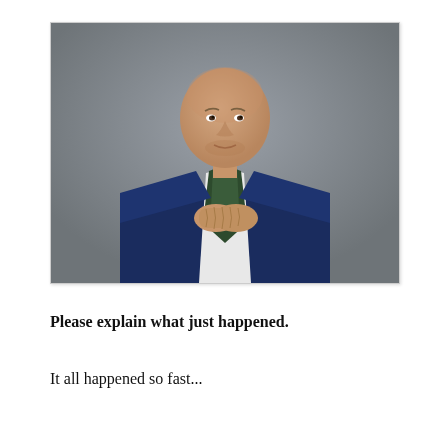[Figure (photo): A bald man in a navy blue blazer with a dark green scarf, wearing a white shirt, hands clasped at chest level, standing against a grey background, looking directly at the camera.]
Please explain what just happened.
It all happened so fast...